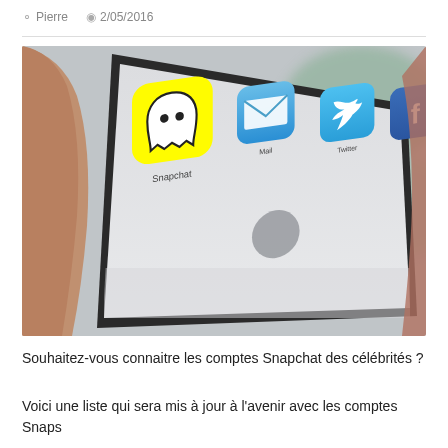Pierre  2/05/2016
[Figure (photo): Close-up photograph of a smartphone screen showing app icons including Snapchat (yellow with ghost logo), Mail (blue gradient with envelope), Twitter (blue with bird), and Facebook (blue with f), held by a person's fingers]
Souhaitez-vous connaitre les comptes Snapchat des célébrités ?
Voici une liste qui sera mis à jour à l'avenir avec les comptes Snaps